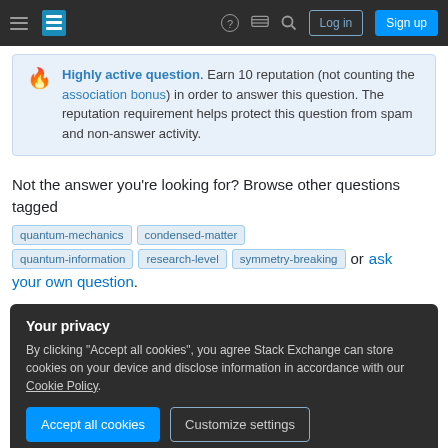Stack Exchange navigation bar with Log in and Sign up buttons
Highly active question. Earn 10 reputation (not counting the association bonus) in order to answer this question. The reputation requirement helps protect this question from spam and non-answer activity.
Not the answer you're looking for? Browse other questions tagged quantum-mechanics condensed-matter quantum-information research-level symmetry-breaking or ask your own question.
Your privacy
By clicking "Accept all cookies", you agree Stack Exchange can store cookies on your device and disclose information in accordance with our Cookie Policy.
Recent site instability, major outages – July/August 2022